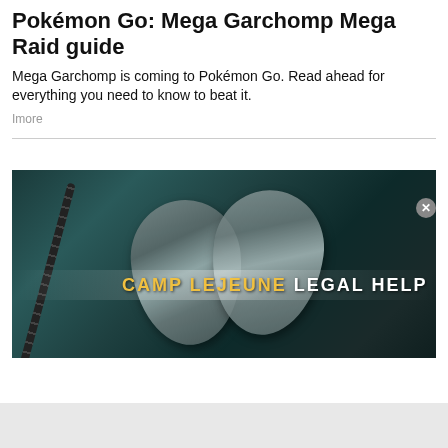Pokémon Go: Mega Garchomp Mega Raid guide
Mega Garchomp is coming to Pokémon Go. Read ahead for everything you need to know to beat it.
Imore
[Figure (photo): Advertisement image showing military dog tags with text 'CAMP LEJEUNE LEGAL HELP' on a dark textured background with a light beam effect]